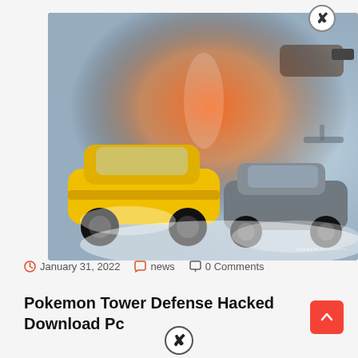[Figure (photo): Action movie promotional image showing a woman in white dress and a man's arm holding a gun, with a yellow sports car and gray car racing through water splashes against an orange explosion background. A close button (X) appears in the top right corner.]
January 31, 2022   news   0 Comments
Pokemon Tower Defense Hacked Download Pc